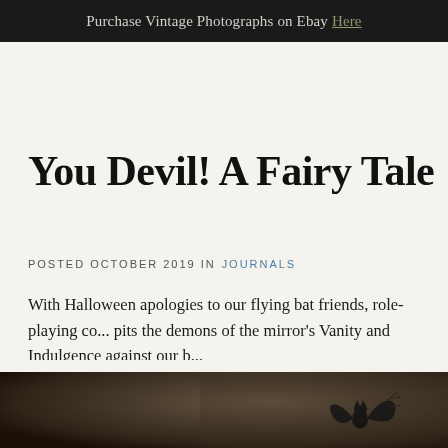Purchase Vintage Photographs on Ebay Here
You Devil! A Fairy Tale
POSTED OCTOBER 2019 IN JOURNALS
With Halloween apologies to our flying bat friends, role-playing co... pits the demons of the mirror's Vanity and Indulgence against our b...
[Figure (photo): Vintage sepia photograph showing a figure holding or associated with a bat silhouette/decorative bat prop, dark brownish tones]